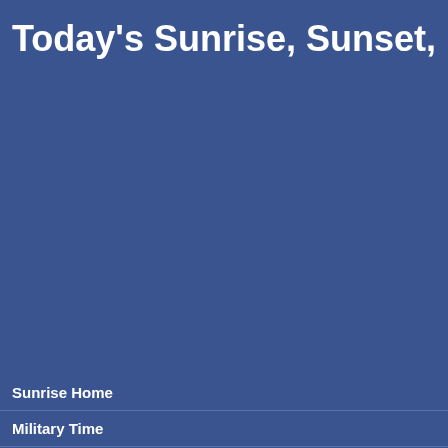Today's Sunrise, Sunset, Length
Sunrise Home
Military Time
Solar Eclipse Oct 2022
- Moscow (63%)
- Stockholm (46%)
- Warsaw (41%)
- Oslo (39%)
- Copenhagen (35%)
- Berlin (32%)
Solar Eclipse Live Online
COVID-19 Pandemic
Current local time in Wosan
Mon, 05 Sep 20
Time is displayed when you enter the page.
05 September 2022
Sunrise:    06:06
Sunset:     18:53